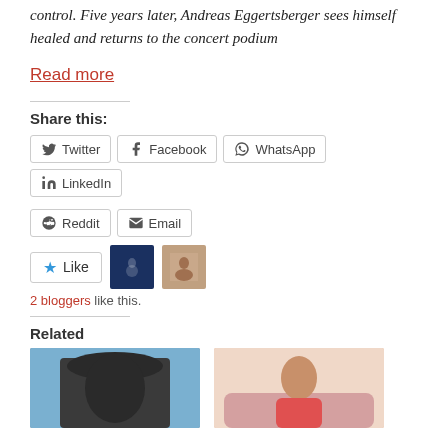control. Five years later, Andreas Eggertsberger sees himself healed and returns to the concert podium
Read more
Share this:
Twitter
Facebook
WhatsApp
LinkedIn
Reddit
Email
Like
2 bloggers like this.
Related
[Figure (photo): Person wearing a dark bucket hat against blue sky background]
[Figure (photo): Woman in red/orange dress sitting on sofa, smiling]